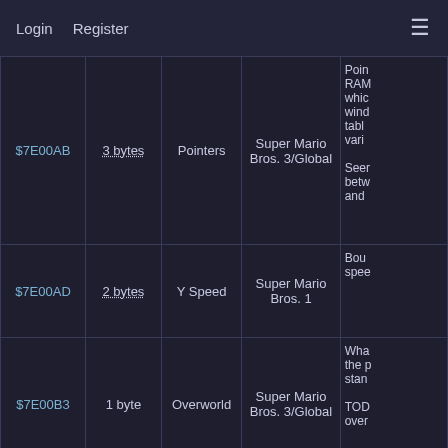Login   Register
| Address | Size | Type | Game | Description |
| --- | --- | --- | --- | --- |
| $7E00AB | 3 bytes | Pointers | Super Mario Bros. 3/Global | Poin RAM whic wind tabl vario Seem betw and |
| $7E00AD | 2 bytes | Y Speed | Super Mario Bros. 1 | Bou spee |
| $7E00B3 | 1 byte | Overworld | Super Mario Bros. 3/Global | Wha the p stan TOD over |
|  |  |  |  | Curr back and |